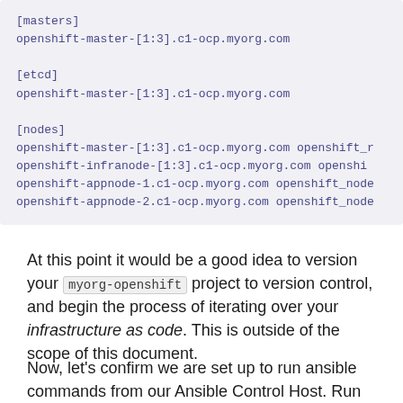[masters]
openshift-master-[1:3].c1-ocp.myorg.com

[etcd]
openshift-master-[1:3].c1-ocp.myorg.com

[nodes]
openshift-master-[1:3].c1-ocp.myorg.com openshift_r
openshift-infranode-[1:3].c1-ocp.myorg.com openshi
openshift-appnode-1.c1-ocp.myorg.com openshift_node
openshift-appnode-2.c1-ocp.myorg.com openshift_node
At this point it would be a good idea to version your myorg-openshift project to version control, and begin the process of iterating over your infrastructure as code. This is outside of the scope of this document.
Now, let's confirm we are set up to run ansible commands from our Ansible Control Host. Run the